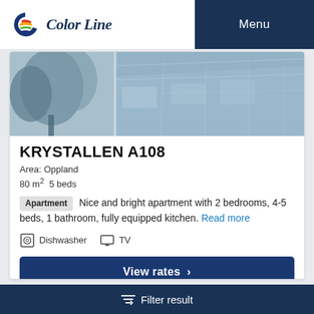Color Line  Menu
[Figure (photo): Exterior photo of Krystallen A108 apartment building, showing trees on the left and a modern building facade on the right with a blue-tinted color scheme.]
KRYSTALLEN A108
Area: Oppland
80 m² 5 beds
Apartment  Nice and bright apartment with 2 bedrooms, 4-5 beds, 1 bathroom, fully equipped kitchen. Read more
Dishwasher
TV
View rates >
Filter result